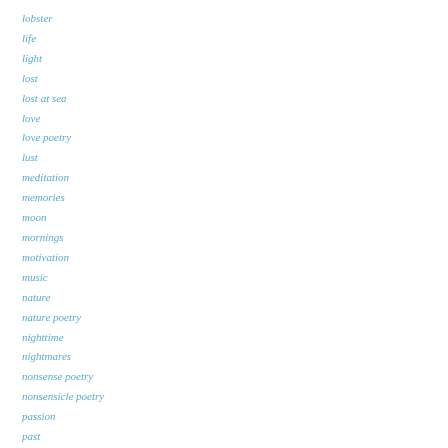lobster
life
light
lost
lost at sea
love
love poetry
lust
meditation
memories
moon
mornings
motivation
music
nature
nature poetry
nighttime
nightmares
nonsense poetry
nonsensicle poetry
passion
past
peace
playful writing
poem
poems
poetic form
poetry
poetry forms
poetry prompts
rambles
Ramblings of a mum
rants
reading
reality
refugee's